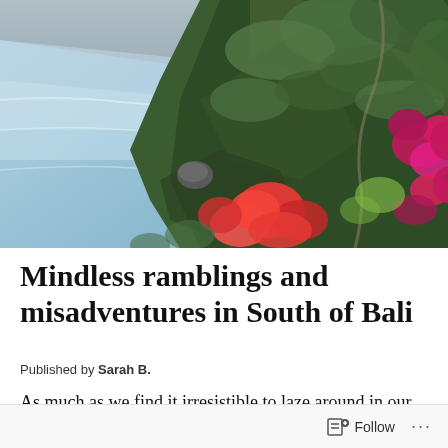[Figure (photo): Aerial view of rocky coastal cliffs covered in lush green vegetation and bright pink and red bougainvillea flowers, with turquoise ocean waves crashing below. A sea rock stack is visible in the water. The scene appears to be Uluwatu, South Bali, Indonesia.]
Mindless ramblings and misadventures in South of Bali
Published by Sarah B.
As much as we find it irresistible to laze around in our